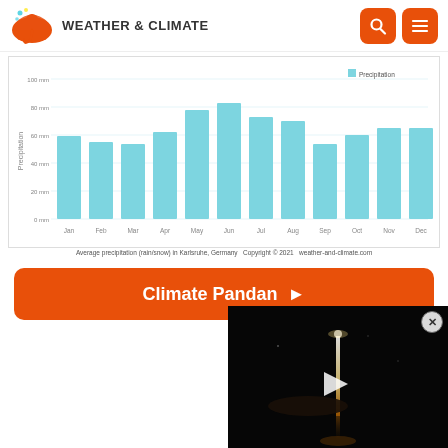WEATHER & CLIMATE
[Figure (bar-chart): Average precipitation (rain/snow) in Karlsruhe, Germany]
Average precipitation (rain/snow) in Karlsruhe, Germany  Copyright © 2021  weather-and-climate.com
Climate Pandan ▶
[Figure (photo): Dark night scene with light streaks reflecting on water, play button overlay — video thumbnail]